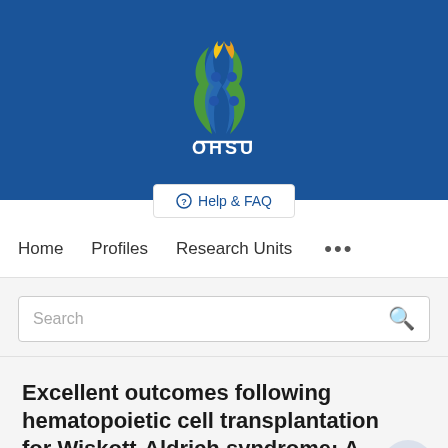[Figure (logo): OHSU (Oregon Health & Science University) logo with DNA helix flame icon in blue, green and gold on dark blue background]
Help & FAQ
Home   Profiles   Research Units   ...
Search
Excellent outcomes following hematopoietic cell transplantation for Wiskott-Aldrich syndrome: A PIDTC...